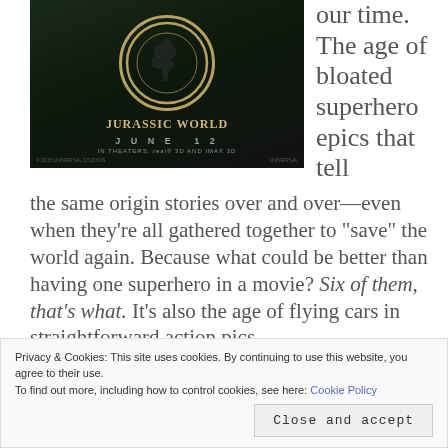[Figure (photo): Jurassic World movie poster showing the logo with a T-Rex skeleton inside a circular emblem, text reading JURASSIC WORLD, JUNE 12, IN THEATERS, real 3D AND IMAX 3D on a dark background]
our time. The age of bloated superhero epics that tell the same origin stories over and over—even when they're all gathered together to "save" the world again. Because what could be better than having one superhero in a movie? Six of them, that's what. It's also the age of flying cars in straightforward action pics,
Privacy & Cookies: This site uses cookies. By continuing to use this website, you agree to their use.
To find out more, including how to control cookies, see here: Cookie Policy
Close and accept